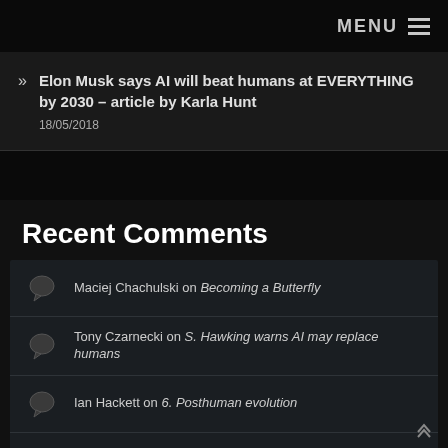MENU
Elon Musk says AI will beat humans at EVERYTHING by 2030 – article by Karla Hunt
18/05/2018
Recent Comments
Maciej Chachulski on Becoming a Butterfly
Tony Czarnecki on S. Hawking warns AI may replace humans
Ian Hackett on 6. Posthuman evolution
Tony Czarnecki on 6. Posthuman evolution
Ian Hackett on 6. Posthuman evolution